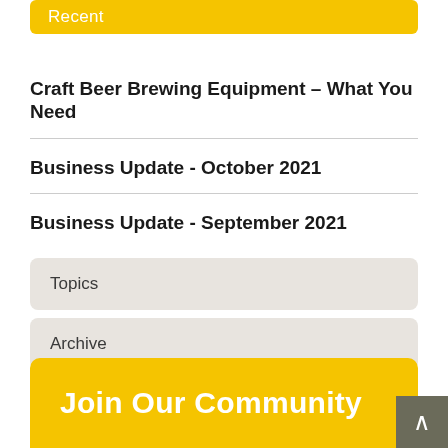Recent
Craft Beer Brewing Equipment – What You Need
Business Update - October 2021
Business Update - September 2021
Topics
Archive
Join Our Community